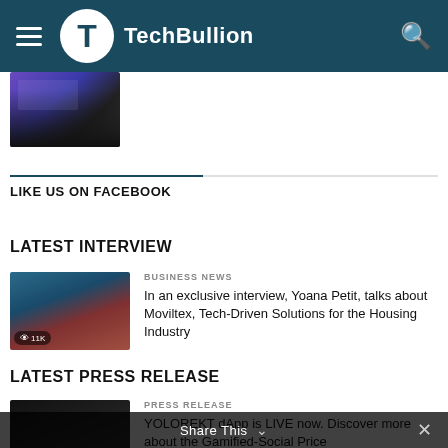TechBullion
[Figure (screenshot): Partial thumbnail image, purple/dark gradient with a person's hand]
LIKE US ON FACEBOOK
LATEST INTERVIEW
[Figure (photo): Article thumbnail showing a waterfront scene with a woman, 11K views badge]
BUSINESS NEWS
In an exclusive interview, Yoana Petit, talks about Moviltex, Tech-Driven Solutions for the Housing Industry
LATEST PRESS RELEASE
[Figure (screenshot): Article thumbnail showing dark tech/app screenshot with 3.7K views badge]
PRESS RELEASE
YOLOREKT dApp is LIVE now. Discover more about the Gamified-Social Price
Share This